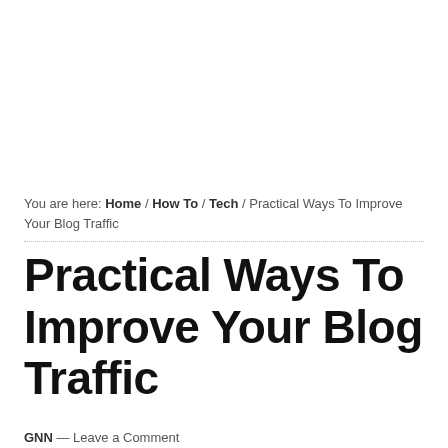You are here: Home / How To / Tech / Practical Ways To Improve Your Blog Traffic
Practical Ways To Improve Your Blog Traffic
GNN — Leave a Comment